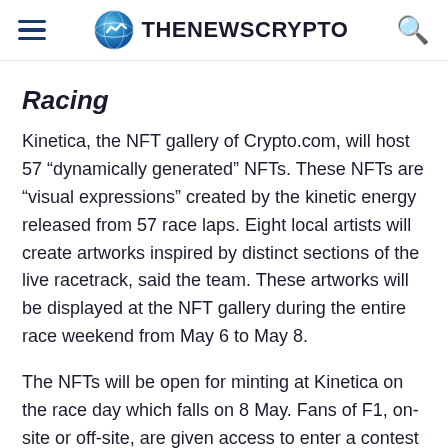THENEWSCRYPTO
Racing
Kinetica, the NFT gallery of Crypto.com, will host 57 “dynamically generated” NFTs. These NFTs are “visual expressions” created by the kinetic energy released from 57 race laps. Eight local artists will create artworks inspired by distinct sections of the live racetrack, said the team. These artworks will be displayed at the NFT gallery during the entire race weekend from May 6 to May 8.
The NFTs will be open for minting at Kinetica on the race day which falls on 8 May. Fans of F1, on-site or off-site, are given access to enter a contest of winning a limited-edition NFT by creating and registering an NFT account on crypto.com before 11.59 P.M. EDT on